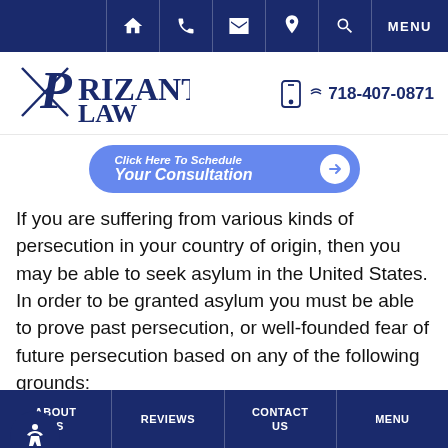Navigation bar with home, phone, mail, location, search, and MENU icons
[Figure (logo): Prizant Law logo with stylized P and L]
718-407-0871
[Figure (infographic): Click Here To Schedule Your Consultation button]
If you are suffering from various kinds of persecution in your country of origin, then you may be able to seek asylum in the United States. In order to be granted asylum you must be able to prove past persecution, or well-founded fear of future persecution based on any of the following grounds:
Race
Ethnicity
ABOUT US | REVIEWS | CONTACT US | MENU